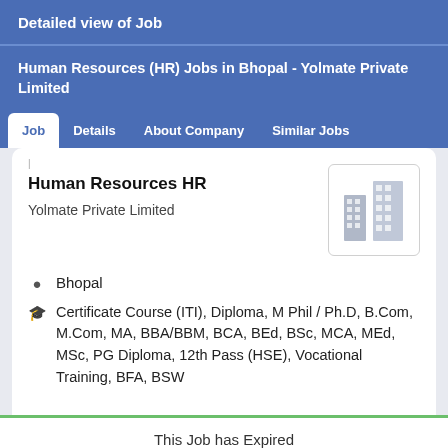Detailed view of Job
Human Resources (HR) Jobs in Bhopal - Yolmate Private Limited
Job   Details   About Company   Similar Jobs
Human Resources HR
Yolmate Private Limited
Bhopal
Certificate Course (ITI), Diploma, M Phil / Ph.D, B.Com, M.Com, MA, BBA/BBM, BCA, BEd, BSc, MCA, MEd, MSc, PG Diploma, 12th Pass (HSE), Vocational Training, BFA, BSW
This Job has Expired